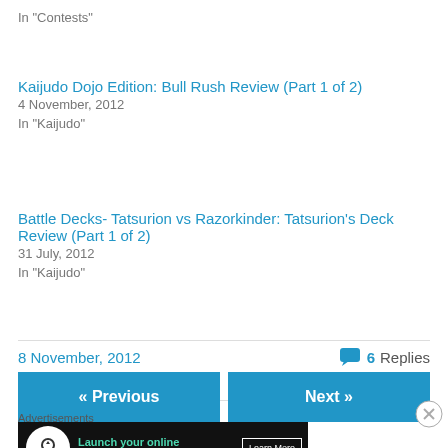In "Contests"
Kaijudo Dojo Edition: Bull Rush Review (Part 1 of 2)
4 November, 2012
In "Kaijudo"
Battle Decks- Tatsurion vs Razorkinder: Tatsurion’s Deck Review (Part 1 of 2)
31 July, 2012
In "Kaijudo"
8 November, 2012
6 Replies
« Previous
Next »
Advertisements
[Figure (other): Advertisement banner: Launch your online course with WordPress, Learn More button]